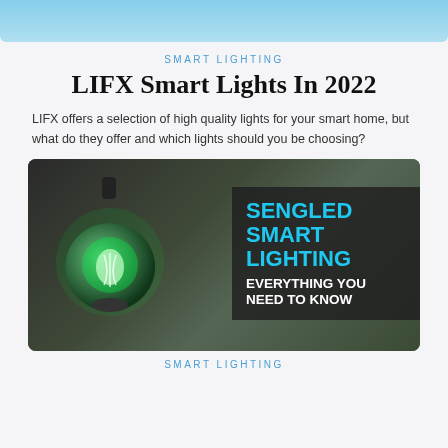[Figure (photo): Top strip of a blue sky/water image cropped at top of page]
SMART LIGHTING
LIFX Smart Lights In 2022
LIFX offers a selection of high quality lights for your smart home, but what do they offer and which lights should you be choosing?
[Figure (photo): Photograph of a glowing green vintage bulb hanging in a dark room, with an overlay text box reading 'SENGLED SMART LIGHTING EVERYTHING YOU NEED TO KNOW']
SMART LIGHTING